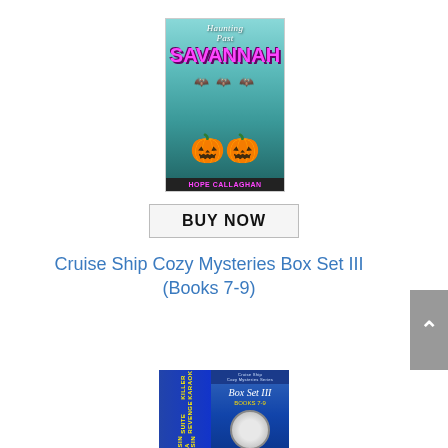[Figure (illustration): Book cover for 'Haunting Past in Savannah' by Hope Callaghan. A Halloween-themed cozy mystery cover featuring the title in stylized text, pumpkins with a witch hat, bats, and a teal/green background. Author name at the bottom.]
[Figure (illustration): A 'BUY NOW' button with bold black text on a light gray/white background with a border.]
Cruise Ship Cozy Mysteries Box Set III (Books 7-9)
[Figure (illustration): Book box set cover for 'Cruise Ship Cozy Mysteries Box Set III, Books 7-9'. Shows spine with titles 'Killer Karaoke', 'Suite Revenge', 'Cruisin for a Bruisin' in yellow text on blue background, and front cover with Box Set III logo and a circular emblem.]